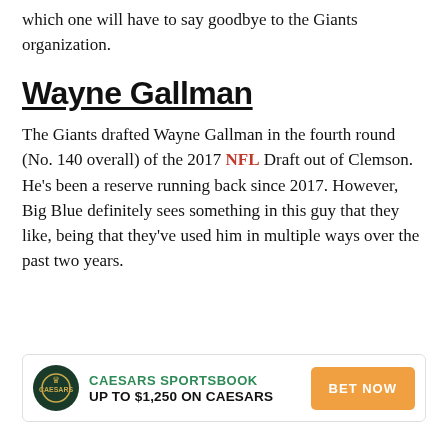which one will have to say goodbye to the Giants organization.
Wayne Gallman
The Giants drafted Wayne Gallman in the fourth round (No. 140 overall) of the 2017 NFL Draft out of Clemson. He's been a reserve running back since 2017. However, Big Blue definitely sees something in this guy that they like, being that they've used him in multiple ways over the past two years.
[Figure (infographic): Caesars Sportsbook advertisement banner with logo, 'UP TO $1,250 ON CAESARS' text, and 'BET NOW' button]